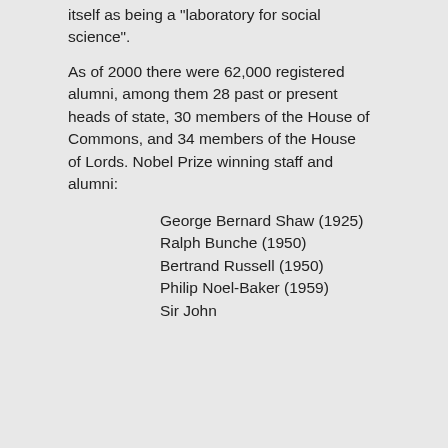itself as being a "laboratory for social science".
As of 2000 there were 62,000 registered alumni, among them 28 past or present heads of state, 30 members of the House of Commons, and 34 members of the House of Lords. Nobel Prize winning staff and alumni:
George Bernard Shaw (1925)
Ralph Bunche (1950)
Bertrand Russell (1950)
Philip Noel-Baker (1959)
Sir John